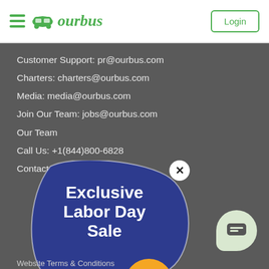[Figure (logo): OurBus logo with hamburger menu icon and Login button in header]
Customer Support: pr@ourbus.com
Charters: charters@ourbus.com
Media: media@ourbus.com
Join Our Team: jobs@ourbus.com
Our Team
Call Us: +1(844)800-6828
Contact Us
[Figure (infographic): Promotional popup badge with dark blue blob shape, white text 'Exclusive Labor Day Sale', close X button, and orange circle showing '15%' discount]
[Figure (other): Light green chat button icon in bottom right corner]
Website Terms & Conditions